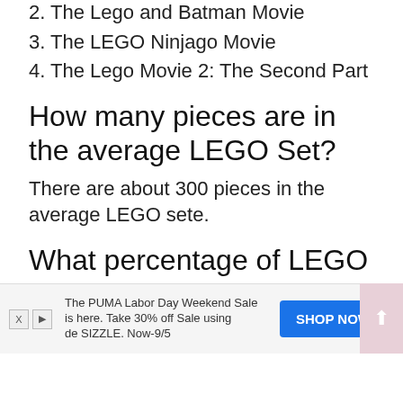2. The Lego and Batman Movie
3. The LEGO Ninjago Movie
4. The Lego Movie 2: The Second Part
How many pieces are in the average LEGO Set?
There are about 300 pieces in the average LEGO sete.
What percentage of LEGO bricks are defective?
LEGO reports that their plastic molds are so precise that only 18 out of every one million bricks…
[Figure (other): Advertisement banner: The PUMA Labor Day Weekend Sale is here. Take 30% off Sale using code SIZZLE. Now-9/5. SHOP NOW button.]